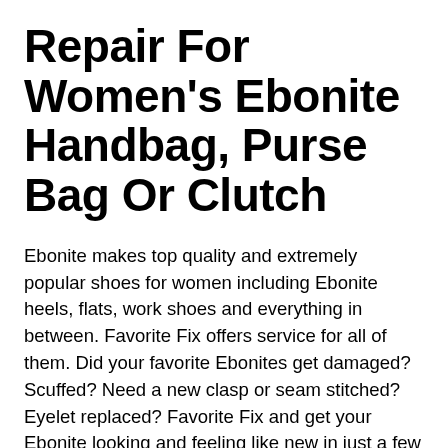Repair For Women's Ebonite Handbag, Purse Bag Or Clutch
Ebonite makes top quality and extremely popular shoes for women including Ebonite heels, flats, work shoes and everything in between. Favorite Fix offers service for all of them. Did your favorite Ebonites get damaged? Scuffed? Need a new clasp or seam stitched? Eyelet replaced? Favorite Fix and get your Ebonite looking and feeling like new in just a few days with our Ebonite repair service. Our shoe services include